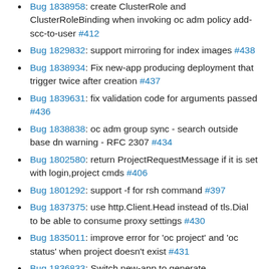Bug 1838958: create ClusterRole and ClusterRoleBinding when invoking oc adm policy add-scc-to-user #412
Bug 1829832: support mirroring for index images #438
Bug 1838934: Fix new-app producing deployment that trigger twice after creation #437
Bug 1839631: fix validation code for arguments passed #436
Bug 1838838: oc adm group sync - search outside base dn warning - RFC 2307 #434
Bug 1802580: return ProjectRequestMessage if it is set with login,project cmds #406
Bug 1801292: support -f for rsh command #397
Bug 1837375: use http.Client.Head instead of tls.Dial to be able to consume proxy settings #430
Bug 1835011: improve error for 'oc project' and 'oc status' when project doesn't exist #431
Bug 1836833: Switch new-app to generate